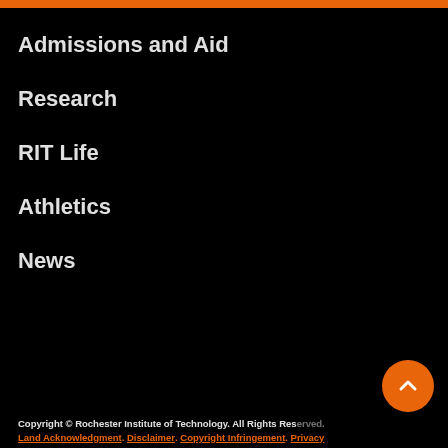Admissions and Aid
Research
RIT Life
Athletics
News
Copyright © Rochester Institute of Technology. All Rights Reserved. Land Acknowledgment. Disclaimer. Copyright Infringement. Privacy